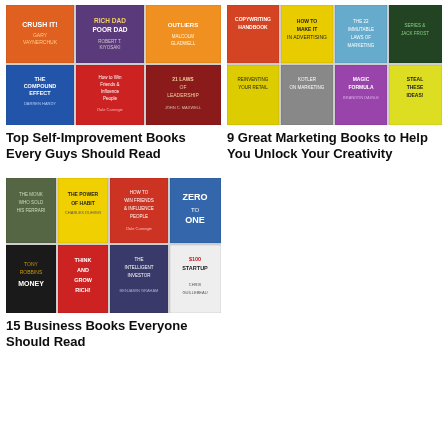[Figure (photo): Collage of self-improvement book covers including Crush It, Rich Dad Poor Dad, The Compound Effect, How to Win Friends and Influence People, and others]
Top Self-Improvement Books Every Guys Should Read
[Figure (photo): Collage of marketing book covers including Copywriting Handbook, How to Make It in Advertising, 22 Immutable Laws of Marketing, Kotler on Marketing, Magic Formula, Steal These Ideas, and others]
9 Great Marketing Books to Help You Unlock Your Creativity
[Figure (photo): Collage of business book covers including The Monk Who Sold His Ferrari, The Power of Habit, How to Win Friends and Influence People, Zero to One, Money by Tony Robbins, Think and Grow Rich, The Intelligent Investor, $100 Startup]
15 Business Books Everyone Should Read